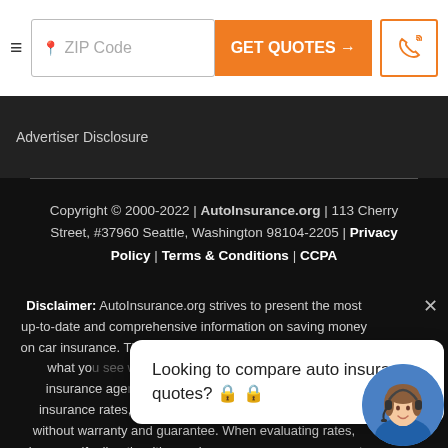≡  ZIP Code  GET QUOTES →  [phone icon]
Advertiser Disclosure
Copyright © 2000-2022 | AutoInsurance.org | 113 Cherry Street, #37960 Seattle, Washington 98104-2205 | Privacy Policy | Terms & Conditions | CCPA
Disclaimer: AutoInsurance.org strives to present the most up-to-date and comprehensive information on saving money on car insurance. The information presented is different than what you may see when you visit an insurance provider, insurance agent, or insurance company website. All insurance rates, products, and services are presented without warranty and guarantee. When evaluating rates, please verify directly with your insurance company or agent. Quotes and offers are not binding, nor a guarantee of coverage.
Looking to compare auto insurance quotes? 🔒 🔒
[Figure (illustration): Customer service agent avatar - woman with headset smiling, circular photo]